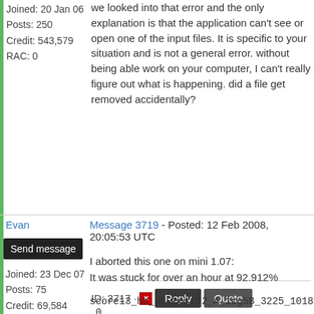Joined: 20 Jan 06
Posts: 250
Credit: 543,579
RAC: 0
we looked into that error and the only explanation is that the application can't see or open one of the input files. It is specific to your situation and is not a general error. without being able work on your computer, I can't really figure out what is happening. did a file get removed accidentally?
ID: 3717 · Reply  Quote
Evan
Send message
Joined: 23 Dec 07
Posts: 75
Credit: 69,584
RAC: 0
Message 3719 - Posted: 12 Feb 2008, 20:05:53 UTC
I aborted this one on mini 1.07:
It was stuck for over an hour at 92.912%
score13_hb_envtest62_A_1cg5B_3225_1018_0
work unit 665842